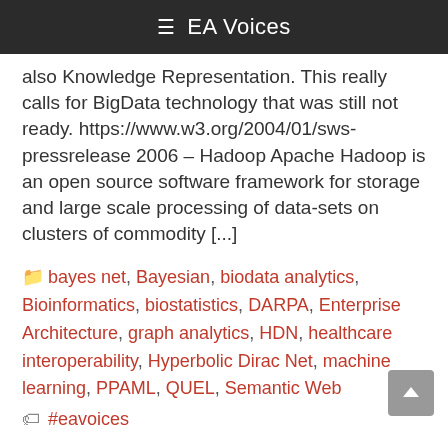EA Voices
also Knowledge Representation. This really calls for BigData technology that was still not ready. https://www.w3.org/2004/01/sws-pressrelease 2006 – Hadoop Apache Hadoop is an open source software framework for storage and large scale processing of data-sets on clusters of commodity [...]
bayes net, Bayesian, biodata analytics, Bioinformatics, biostatistics, DARPA, Enterprise Architecture, graph analytics, HDN, healthcare interoperability, Hyperbolic Dirac Net, machine learning, PPAML, QUEL, Semantic Web
#eavoices